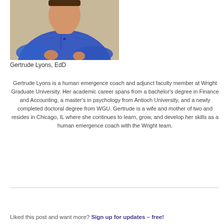[Figure (photo): Portrait photo of Gertrude Lyons wearing a blue cardigan, cropped at the torso, with a beige background.]
Gertrude Lyons, EdD
Gertrude Lyons is a human emergence coach and adjunct faculty member at Wright Graduate University. Her academic career spans from a bachelor's degree in Finance and Accounting, a master's in psychology from Antioch University, and a newly completed doctoral degree from WGU. Gertrude is a wife and mother of two and resides in Chicago, IL where she continues to learn, grow, and develop her skills as a human emergence coach with the Wright team.
Liked this post and want more? Sign up for updates – free!